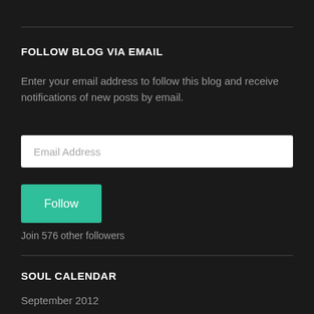FOLLOW BLOG VIA EMAIL
Enter your email address to follow this blog and receive notifications of new posts by email.
Email Address
Follow
Join 576 other followers
SOUL CALENDAR
September 2012